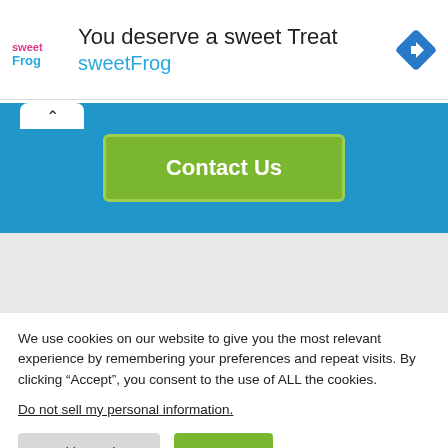[Figure (screenshot): Ad banner for sweetFrog with logo, tagline 'You deserve a sweet Treat', brand name 'sweetFrog', and a blue diamond navigation icon]
[Figure (screenshot): Blue 'Contact Us' button section with a white tab/arrow pointing up on the left]
[Figure (screenshot): Map section showing a light gray background with a blue bar representing a map element]
We use cookies on our website to give you the most relevant experience by remembering your preferences and repeat visits. By clicking “Accept”, you consent to the use of ALL the cookies.
Do not sell my personal information.
Cookie Settings
Accept